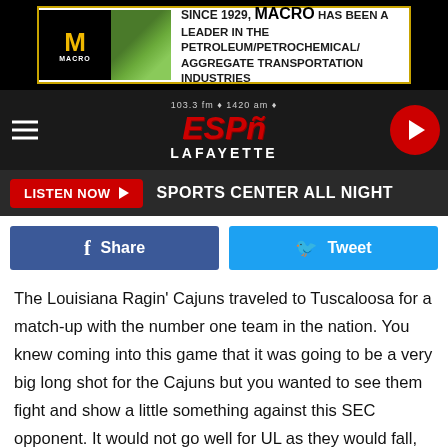[Figure (advertisement): MACRO petroleum/petrochemical/aggregate transportation industries ad banner since 1929]
[Figure (logo): ESPN Lafayette 103.3 FM 1420 AM radio station header with hamburger menu and play button]
LISTEN NOW ▶  SPORTS CENTER ALL NIGHT
[Figure (infographic): Facebook Share button and Twitter Tweet button social sharing row]
The Louisiana Ragin' Cajuns traveled to Tuscaloosa for a match-up with the number one team in the nation. You knew coming into this game that it was going to be a very big long shot for the Cajuns but you wanted to see them fight and show a little something against this SEC opponent. It would not go well for UL as they would fall, 56-14.
[Figure (advertisement): J & J Exterminating is a Proud UL Radio Booster - Visit Us Here]